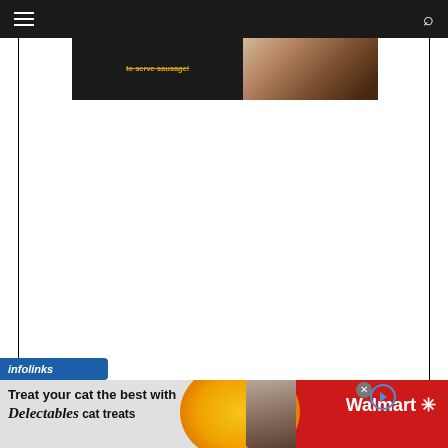Navigation bar with hamburger menu and search icon
[Figure (screenshot): Partial thumbnail image strip showing a dark background with yellow/gold struck-through text on the left and a food photo (sausage/meat) on the right]
[Figure (infographic): Infolinks banner logo in blue at bottom left of content area]
[Figure (infographic): Advertisement banner: 'Treat your cat the best with Delectables cat treats' with Walmart branding, cat photo, yellow circle graphic, red background on right side, close X button, and play button]